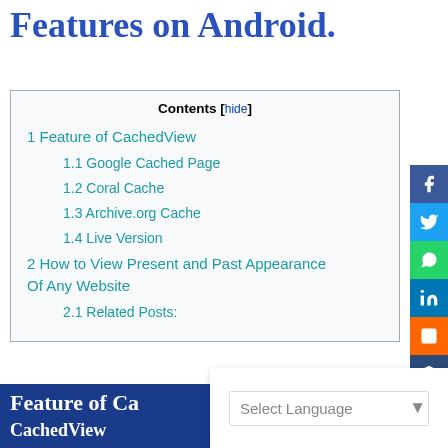Features on Android.
Contents [hide]
1 Feature of CachedView
1.1 Google Cached Page
1.2 Coral Cache
1.3 Archive.org Cache
1.4 Live Version
2 How to View Present and Past Appearance Of Any Website
2.1 Related Posts:
Feature of CachedView